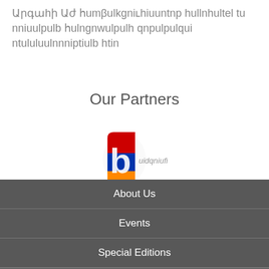Արগաhի Աժ humբulgniւhiևներp hulnhulel են nniuulpulb hulngnwulpulh qnpulpulqui ntululuulnnni ptiulb htin
Our Partners
[Figure (logo): Partner logo: Armenian TV channel logo with stylized letter and colored shield design with text]
About Us
Events
Special Editions